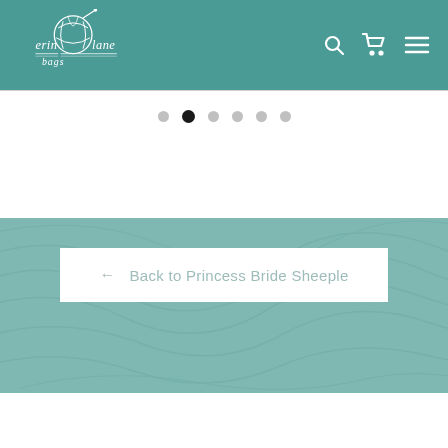[Figure (logo): Erin Lane Bags logo in white on teal header background, with yarn ball illustration and decorative lines under text]
[Figure (infographic): Navigation icons: search magnifying glass, shopping cart, and hamburger menu in white on teal background]
[Figure (infographic): Carousel pagination dots: 6 dots, second dot is active (filled dark), others are light gray]
[Figure (infographic): Teal section with topographic contour line decorative background pattern]
← Back to Princess Bride Sheeple